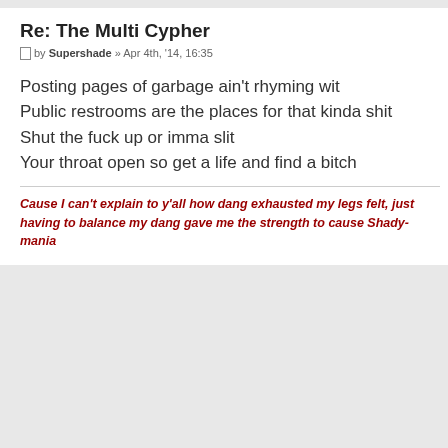Re: The Multi Cypher
by Supershade » Apr 4th, '14, 16:35
Posting pages of garbage ain't rhyming wit
Public restrooms are the places for that kinda shit
Shut the fuck up or imma slit
Your throat open so get a life and find a bitch
Cause I can't explain to y'all how dang exhausted my legs felt, just having to balance my dang gave me the strength to cause Shady-mania
Re: The Multi Cypher
by ilovebender.com » Apr 4th, '14, 17:02
Oh snap!
Half tongue